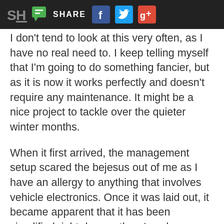SH  SHARE  [Facebook] [Twitter] [Google+]
I don't tend to look at this very often, as I have no real need to. I keep telling myself that I'm going to do something fancier, but as it is now it works perfectly and doesn't require any maintenance. It might be a nice project to tackle over the quieter winter months.
When it first arrived, the management setup scared the bejesus out of me as I have an allergy to anything that involves vehicle electronics. Once it was laid out, it became apparent that it has been simplified right down – there's only one plug and everything is combined in a single harness – to the point where even I think I could comfortably